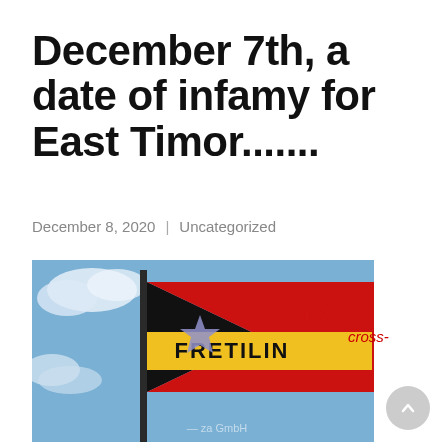December 7th, a date of infamy for East Timor.......
December 8, 2020  |  Uncategorized
[Figure (photo): A FRETILIN flag (black, red, and yellow with a white star) flying on a flagpole against a blue sky background. The flag shows the word FRETILIN on a yellow stripe.]
cross-